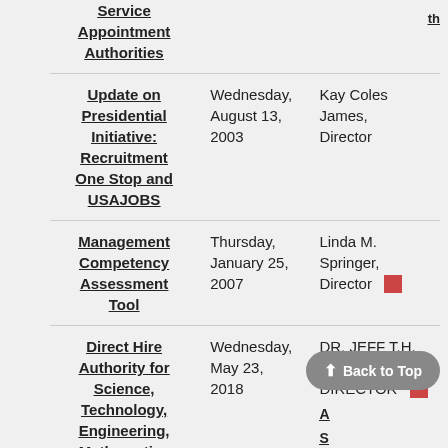| Topic | Date | Director | Links |
| --- | --- | --- | --- |
| Service Appointment Authorities |  |  |  |
| Update on Presidential Initiative: Recruitment One Stop and USAJOBS | Wednesday, August 13, 2003 | Kay Coles James, Director |  |
| Management Competency Assessment Tool | Thursday, January 25, 2007 | Linda M. Springer, Director |  |
| Direct Hire Authority for Science, Technology, Engineering, Mathematics and Cybersecurity | Wednesday, May 23, 2018 | DR. JEFF T.H. PON, DIRECTOR | A S E M C P |